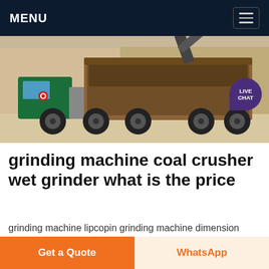MENU
[Figure (photo): A truck loaded with materials at a quarry or construction site, with a stone wall in the background. A live chat bubble badge is overlaid in the top-right corner of the image.]
grinding machine coal crusher wet grinder what is the price
grinding machine lipcopin grinding machine dimension w800xd650xh385mm easy way for slag cement grinding suppliers for grinding machines grinding machine lipcopin mesin grinding grinding ball 57-59rc - gujaratgenomicsin
Get a Quote
WhatsApp